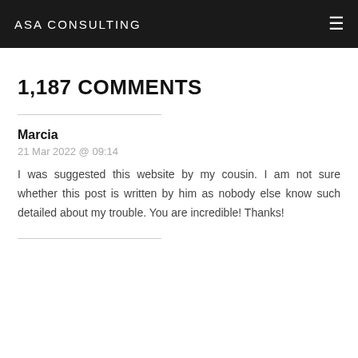ASA CONSULTING
1,187 COMMENTS
Marcia
21 Mar 2022 @ 09:14
I was suggested this website by my cousin. I am not sure whether this post is written by him as nobody else know such detailed about my trouble. You are incredible! Thanks!